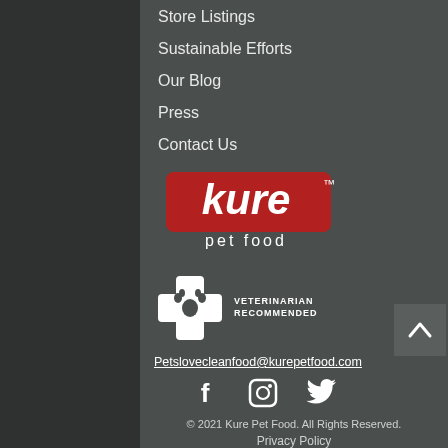Store Listings
Sustainable Efforts
Our Blog
Press
Contact Us
[Figure (logo): Kure pet food logo — red rounded rectangle with white text 'kure' in lowercase, with 'pet food' below in white sans-serif]
[Figure (logo): Veterinarian Recommended badge — white cross/plus symbol with paw print, text reading VETERINARIAN RECOMMENDED]
Petslovecleanfood@kurepetfood.com
[Figure (infographic): Social media icons: Facebook, Instagram, Twitter]
© 2021 Kure Pet Food. All Rights Reserved.
Privacy Policy